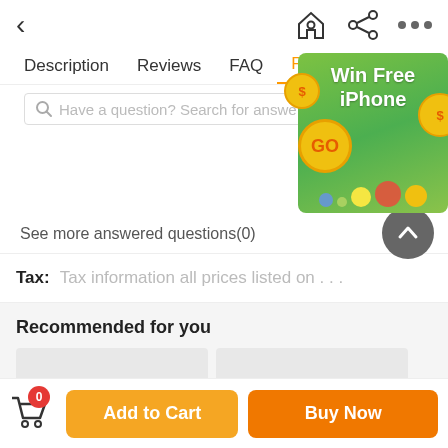< [back] [home icon] [share icon] [more icon]
Description | Reviews | FAQ | Recommend
Have a question? Search for answers
[Figure (infographic): Green ad popup with text 'Win Free iPhone', a yellow GO button, dollar coin decorations, and colorful bubbles]
See more answered questions(0)
Tax: Tax information all prices listed on . . .
Recommended for you
[Figure (other): Two grey placeholder product image tiles]
Add to Cart | Buy Now